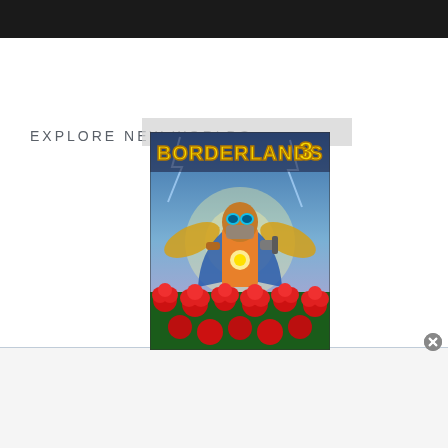EXPLORE NEW WORLDS
[Figure (photo): Borderlands 3 video game cover art featuring a masked vault hunter surrounded by roses and golden weapons against a stormy sky background, with 'BORDERLANDS 3' logo in yellow text at the top.]